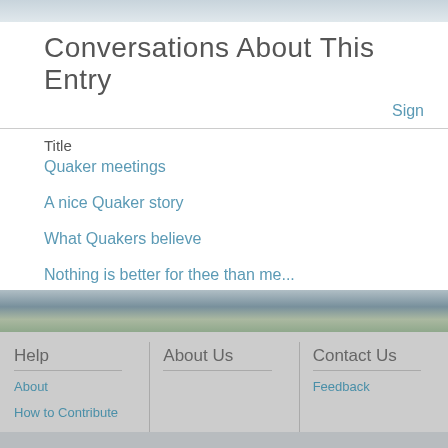Conversations About This Entry
Sign
Title
Quaker meetings
A nice Quaker story
What Quakers believe
Nothing is better for thee than me...
Subscribe | Unsubscribe
Help
About
How to Contribute
FAQs
Soapbox
About Us
Contact Us
Feedback